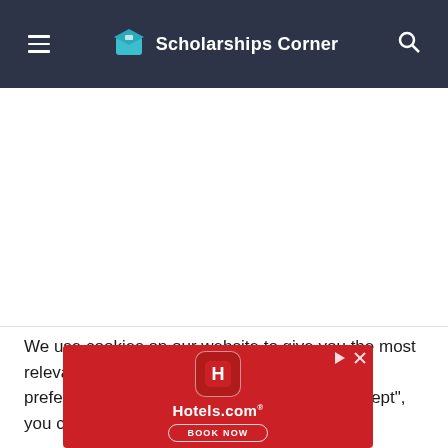Scholarships Corner
We use cookies on our website to give you the most relevant experience by remembering your preferences and repeat visits. By clicking “Accept”, you consent to the use of ALL the cookies.
[Figure (screenshot): Hotels.com advertisement banner with red background, Hotels.com logo icon, Hotels.com text, and BOOK NOW button]